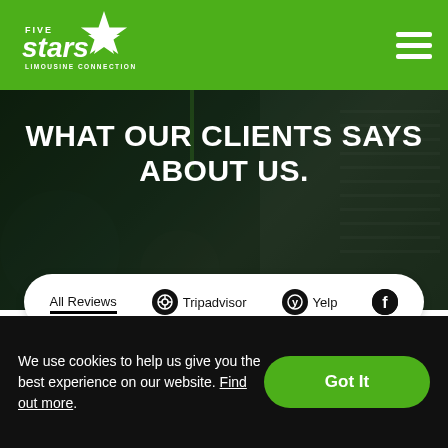[Figure (logo): Five Stars Limousine Connection logo in white on green background with a star graphic]
WHAT OUR CLIENTS SAYS ABOUT US.
All Reviews  Tripadvisor  Yelp  (Facebook icon)
[Figure (photo): Circular avatar photo of reviewer Greg H., a middle-aged man]
Greg H.
★★★★★
Excellent, timely, reliable, and fair priced
We use cookies to help us give you the best experience on our website. Find out more.